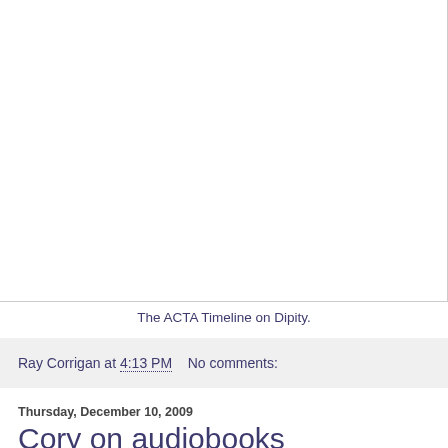[Figure (other): Embedded timeline image from Dipity showing the ACTA Timeline — white/empty area visible as a large white box with border]
The ACTA Timeline on Dipity.
Ray Corrigan at 4:13 PM    No comments:
Thursday, December 10, 2009
Cory on audiobooks